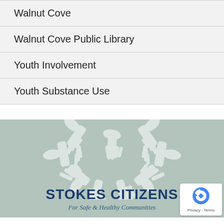Walnut Cove
Walnut Cove Public Library
Youth Involvement
Youth Substance Use
[Figure (logo): Stokes Citizens logo with hands reaching together on a sage green background, with text 'STOKES CITIZENS' and 'For Safe & Healthy Communities']